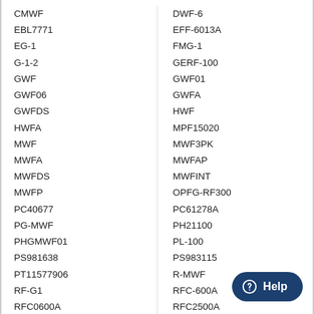CMWF
EBL7771
EG-1
G-1-2
GWF
GWF06
GWFDS
HWFA
MWF
MWFA
MWFDS
MWFP
PC40677
PG-MWF
PHGMWF01
PS981638
PT11577906
RF-G1
RFC0600A
RPF-MWF
SGF-G1
DWF-6
EFF-6013A
FMG-1
GERF-100
GWF01
GWFA
HWF
MPF15020
MWF3PK
MWFAP
MWFINT
OPFG-RF300
PC61278A
PH21100
PL-100
PS983115
R-MWF
RFC-600A
RFC2500A
RWF1060
SGF-G9